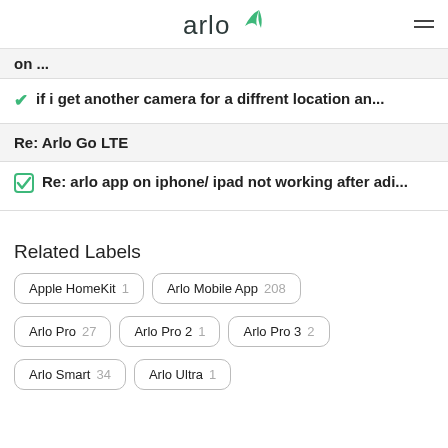arlo
on ...
if i get another camera for a diffrent location an...
Re: Arlo Go LTE
Re: arlo app on iphone/ ipad not working after adi...
Related Labels
Apple HomeKit 1
Arlo Mobile App 208
Arlo Pro 27
Arlo Pro 2 1
Arlo Pro 3 2
Arlo Smart 34
Arlo Ultra 1